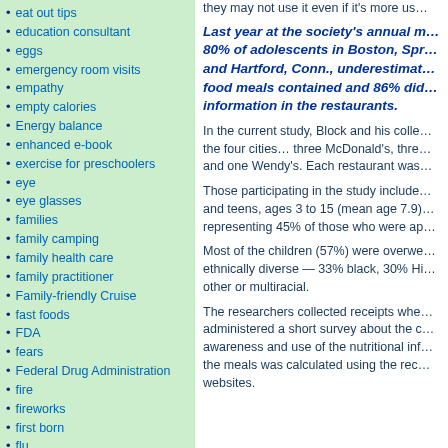eat out tips
education consultant
eggs
emergency room visits
empathy
empty calories
Energy balance
enhanced e-book
exercise for preschoolers
eye
eye glasses
families
family camping
family health care
family practitioner
Family-friendly Cruise
fast foods
FDA
fears
Federal Drug Administration
fire
fireworks
first born
flu
they may not use it even if it's more us…
Last year at the society's annual m… 80% of adolescents in Boston, Spr… and Hartford, Conn., underestimat… food meals contained and 86% did… information in the restaurants.
In the current study, Block and his colle… the four cities… three McDonald's, thre… and one Wendy's. Each restaurant was…
Those participating in the study include… and teens, ages 3 to 15 (mean age 7.9)… representing 45% of those who were ap…
Most of the children (57%) were overwe… ethnically diverse — 33% black, 30% Hi… other or multiracial.
The researchers collected receipts whe… administered a short survey about the c… awareness and use of the nutritional inf… the meals was calculated using the rec… websites.